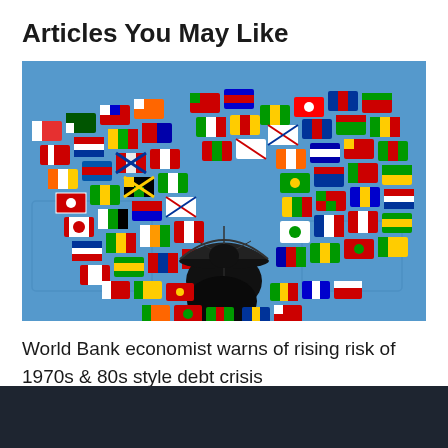Articles You May Like
[Figure (photo): A silhouette of a person holding an umbrella surrounded by a large arc of international country flags arranged in a fan pattern against a blue background.]
World Bank economist warns of rising risk of 1970s & 80s style debt crisis